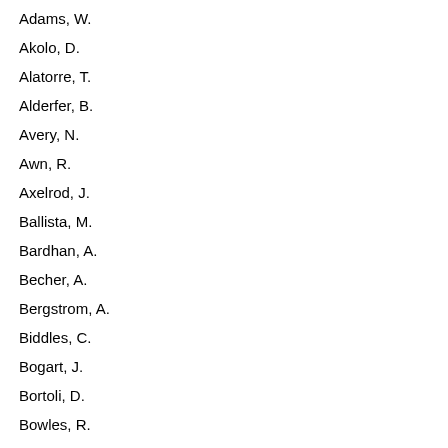Adams, W.
Akolo, D.
Alatorre, T.
Alderfer, B.
Avery, N.
Awn, R.
Axelrod, J.
Ballista, M.
Bardhan, A.
Becher, A.
Bergstrom, A.
Biddles, C.
Bogart, J.
Bortoli, D.
Bowles, R.